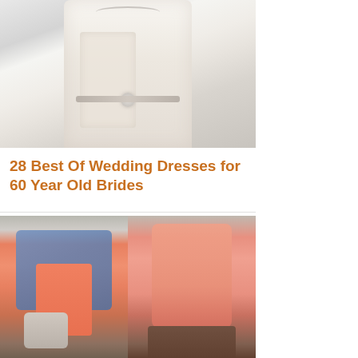[Figure (photo): A woman wearing a white lace long-sleeve wedding dress with a jeweled belt and necklace, photographed from shoulders to waist against a gray background.]
28 Best Of Wedding Dresses for 60 Year Old Brides
[Figure (photo): Two photos side by side: left shows a woman in a coral/salmon dress with a denim jacket carrying a gray bag; right shows a woman in a coral sleeveless dress wearing cowboy boots.]